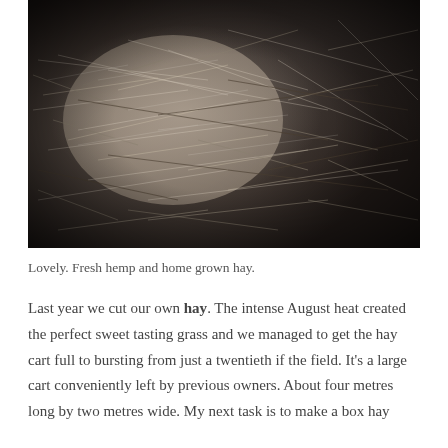[Figure (photo): Close-up macro photograph of hay and hemp fibers — a tangle of dry grass stalks and fine filaments in muted gray, beige, and brown tones against a dark background.]
Lovely. Fresh hemp and home grown hay.
Last year we cut our own hay. The intense August heat created the perfect sweet tasting grass and we managed to get the hay cart full to bursting from just a twentieth if the field. It's a large cart conveniently left by previous owners. About four metres long by two metres wide. My next task is to make a box hay